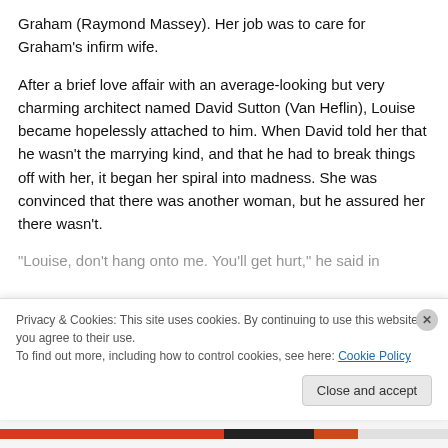Graham (Raymond Massey). Her job was to care for Graham's infirm wife.
After a brief love affair with an average-looking but very charming architect named David Sutton (Van Heflin), Louise became hopelessly attached to him. When David told her that he wasn't the marrying kind, and that he had to break things off with her, it began her spiral into madness. She was convinced that there was another woman, but he assured her there wasn't.
"Louise, don't hang onto me. You'll get hurt," he said in
Privacy & Cookies: This site uses cookies. By continuing to use this website, you agree to their use.
To find out more, including how to control cookies, see here: Cookie Policy
Close and accept